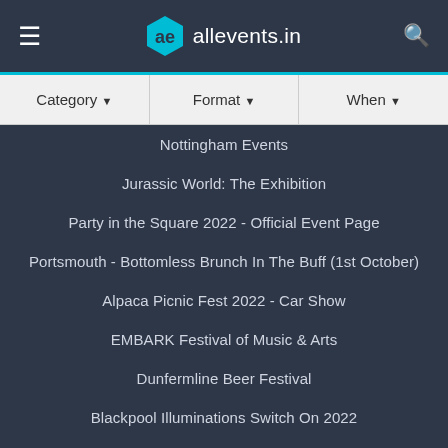allevents.in
Category
Format
When
Nottingham Events
Jurassic World: The Exhibition
Party in the Square 2022 - Official Event Page
Portsmouth - Bottomless Brunch In The Buff (1st October)
Alpaca Picnic Fest 2022 - Car Show
EMBARK Festival of Music & Arts
Dunfermline Beer Festival
Blackpool Illuminations Switch On 2022
Cheshire Game and Country Fair
NT Live: Prima Facie (EXTRA DATE ADDED!)